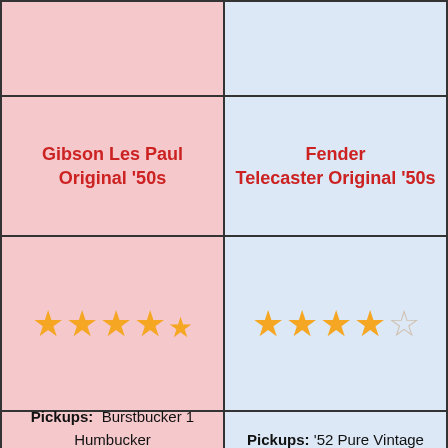| Gibson Les Paul Original '50s | Fender Telecaster Original '50s |
| --- | --- |
| (image row) | (image row) |
| Gibson Les Paul Original '50s | Fender Telecaster Original '50s |
| ★★★★½ (4.5 stars) | ★★★★☆ (3.5 stars) |
| Pickups: Burstbucker 1 Humbucker + Burstbucker 2 Humbucker | Pickups: '52 Pure Vintage Single-coil |
| Body Type: Solidbody | Body Type: Solidbody |